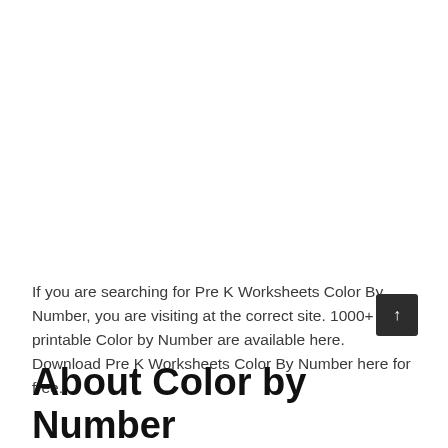If you are searching for Pre K Worksheets Color By Number, you are visiting at the correct site. 1000+ free printable Color by Number are available here. Download Pre K Worksheets Color By Number here for free.
About Color by Number